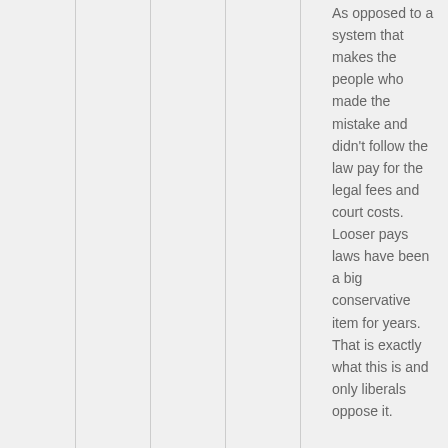As opposed to a system that makes the people who made the mistake and didn't follow the law pay for the legal fees and court costs. Looser pays laws have been a big conservative item for years. That is exactly what this is and only liberals oppose it.